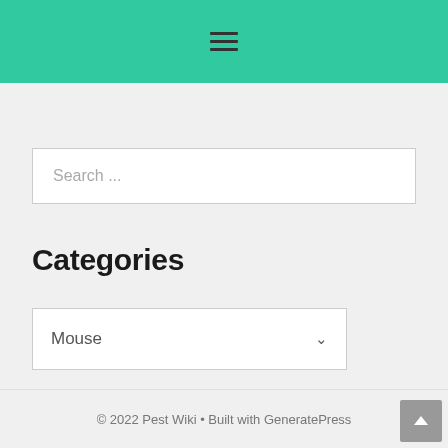Navigation menu (hamburger icon)
Search ...
Categories
Mouse
© 2022 Pest Wiki • Built with GeneratePress